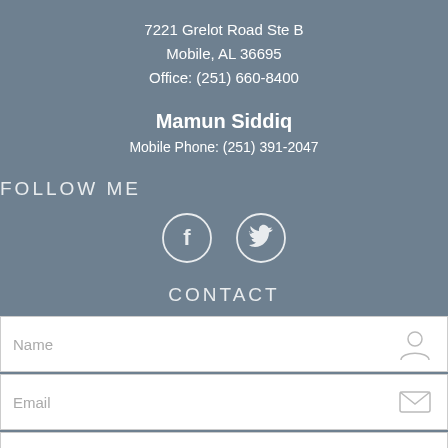7221 Grelot Road Ste B
Mobile, AL 36695
Office: (251) 660-8400
Mamun Siddiq
Mobile Phone: (251) 391-2047
FOLLOW ME
[Figure (infographic): Facebook and Twitter social media icons as outlined circles with F and bird logos]
CONTACT
Name
Email
Message